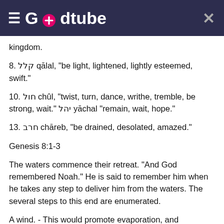Godtube
kingdom.
8. קלל qālal, "be light, lightened, lightly esteemed, swift."
10. חול chûl, "twist, turn, dance, writhe, tremble, be strong, wait." יהל yāchal "remain, wait, hope."
13. חרב chāreb, "be drained, desolated, amazed."
Genesis 8:1-3
The waters commence their retreat. "And God remembered Noah." He is said to remember him when he takes any step to deliver him from the waters. The several steps to this end are enumerated.
A wind. - This would promote evaporation, and otherwise aid the retreat of the waters. "The fountains of the deep and the wind..."